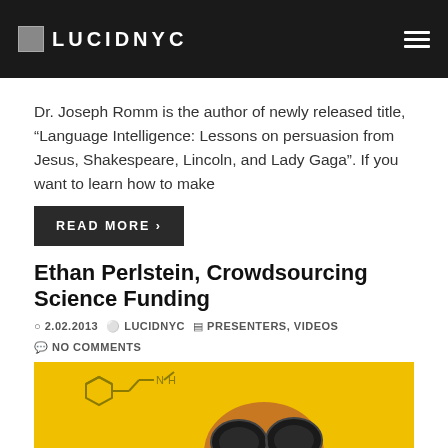LUCIDNYC
Dr. Joseph Romm is the author of newly released title, “Language Intelligence: Lessons on persuasion from Jesus, Shakespeare, Lincoln, and Lady Gaga”. If you want to learn how to make
READ MORE ›
Ethan Perlstein, Crowdsourcing Science Funding
© 2.02.2013  LUCIDNYC  PRESENTERS, VIDEOS  NO COMMENTS
[Figure (illustration): Yellow background illustration showing a person wearing black goggles/lab equipment with a chemical structure (amphetamine-like molecule) in the upper left corner.]